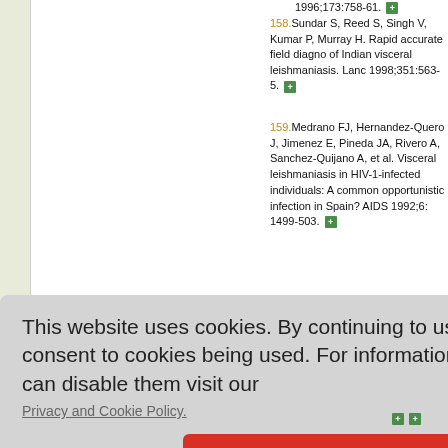1996;173:758-61. [icon]
158. Sundar S, Reed S, Singh V, Kumar P, Murray H. Rapid accurate field diagnosis of Indian visceral leishmaniasis. Lanc 1998;351:563-5. [icon]
159. Medrano FJ, Hernandez-Quero J, Jimenez E, Pineda JA, Rivero A, Sanchez-Quijano A, et al. Visceral leishmaniasis in HIV-1-infected individuals: A common opportunistic infection in Spain? AIDS 1992;6: 1499-503. [icon]
This website uses cookies. By continuing to use this website you are giving consent to cookies being used. For information on cookies and how you can disable them visit our
Privacy and Cookie Policy.
AGREE & PROCEED